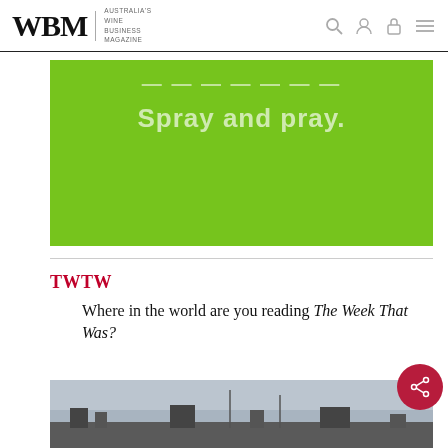WBM | Australia's Wine Business Magazine
[Figure (illustration): Green advertisement banner with text 'Spray and pray.' in white on bright green background]
TWTW
Where in the world are you reading The Week That Was?
[Figure (photo): Outdoor landscape photo at bottom of page, partially visible, showing buildings and sky]